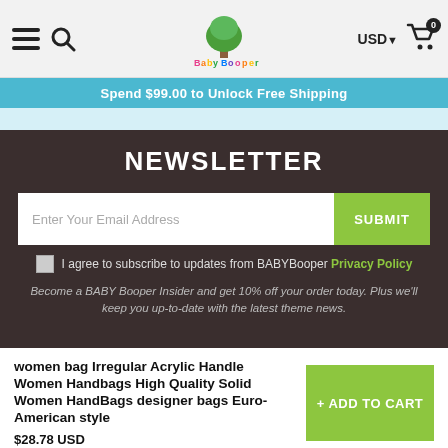USD 0 (cart)
Spend $99.00 to Unlock Free Shipping
NEWSLETTER
Enter Your Email Address
SUBMIT
I agree to subscribe to updates from BABYBooper Privacy Policy
Become a BABY Booper Insider and get 10% off your order today. Plus we'll keep you up-to-date with the latest theme news.
women bag Irregular Acrylic Handle Women Handbags High Quality Solid Women HandBags designer bags Euro-American style
$28.78 USD
+ ADD TO CART